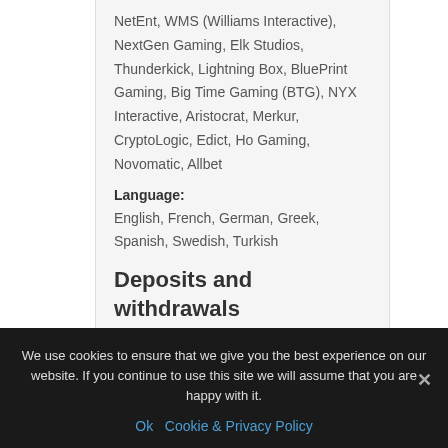NetEnt, WMS (Williams Interactive), NextGen Gaming, Elk Studios, Thunderkick, Lightning Box, BluePrint Gaming, Big Time Gaming (BTG), NYX Interactive, Aristocrat, Merkur, CryptoLogic, Edict, Ho Gaming, Novomatic, Allbet
Language:
English, French, German, Greek, Spanish, Swedish, Turkish
Deposits and withdrawals
Accepted Currency:
Euro - EUR, US Dollar - USD
We use cookies to ensure that we give you the best experience on our website. If you continue to use this site we will assume that you are happy with it.
Ok  Cookie & Privacy Policy